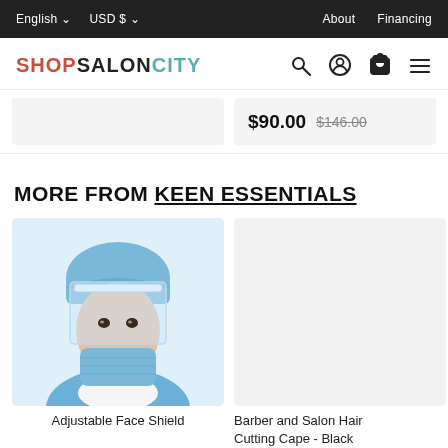English  USD $  About  Financing
[Figure (logo): ShopSalonCity logo with search, account, cart, and menu icons]
$90.00  $146.00
MORE FROM KEEN ESSENTIALS
[Figure (photo): Person wearing blue surgical cap, face shield, and blue face mask]
Adjustable Face Shield
[Figure (photo): Barber and Salon Hair Cutting Cape - Black product image (light background)]
Barber and Salon Hair Cutting Cape - Black
[Figure (photo): Continuous Bottle - partial view]
Contin... Bottle